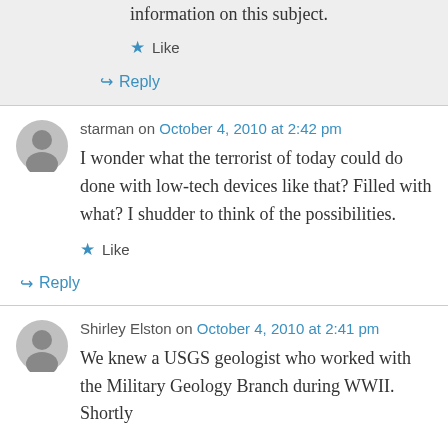information on this subject.
★ Like
↳ Reply
starman on October 4, 2010 at 2:42 pm
I wonder what the terrorist of today could do done with low-tech devices like that? Filled with what? I shudder to think of the possibilities.
★ Like
↳ Reply
Shirley Elston on October 4, 2010 at 2:41 pm
We knew a USGS geologist who worked with the Military Geology Branch during WWII. Shortly